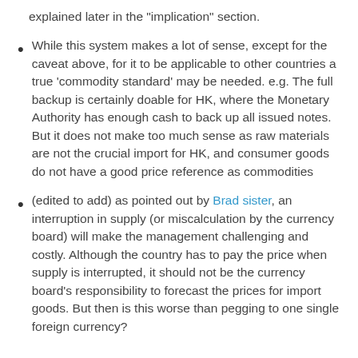explained later in the "implication" section.
While this system makes a lot of sense, except for the caveat above, for it to be applicable to other countries a true 'commodity standard' may be needed. e.g. The full backup is certainly doable for HK, where the Monetary Authority has enough cash to back up all issued notes. But it does not make too much sense as raw materials are not the crucial import for HK, and consumer goods do not have a good price reference as commodities
(edited to add) as pointed out by Brad sister, an interruption in supply (or miscalculation by the currency board) will make the management challenging and costly. Although the country has to pay the price when supply is interrupted, it should not be the currency board's responsibility to forecast the prices for import goods. But then is this worse than pegging to one single foreign currency?